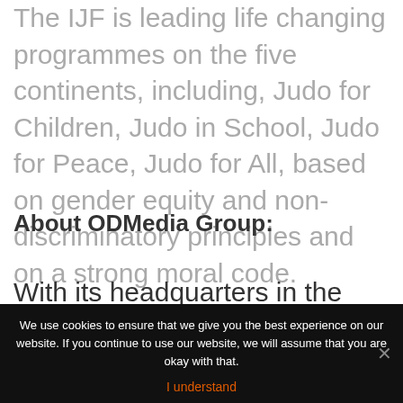The IJF is leading life changing programmes on the five continents, including, Judo for Children, Judo in School, Judo for Peace, Judo for All, based on gender equity and non-discriminatory principles and on a strong moral code.
About ODMedia Group:
With its headquarters in the heart of the
We use cookies to ensure that we give you the best experience on our website. If you continue to use our website, we will assume that you are okay with that.
I understand